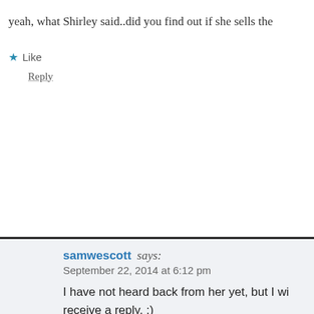yeah, what Shirley said..did you find out if she sells the
Like
Reply
samwescott says:
September 22, 2014 at 6:12 pm
I have not heard back from her yet, but I wi receive a reply. :)
Edit: Yes, she sells both patterns and kits! J beaddreamers@gmail.com
Like
Reply